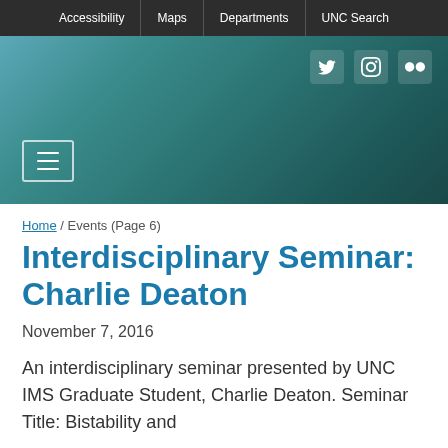Accessibility | Maps | Departments | UNC Search
[Figure (screenshot): UNC website header with teal/dark green gradient background, social media icons (Twitter, Instagram, Flickr) in top right, and hamburger menu button in bottom left]
Home / Events (Page 6)
Interdisciplinary Seminar: Charlie Deaton
November 7, 2016
An interdisciplinary seminar presented by UNC IMS Graduate Student, Charlie Deaton. Seminar Title: Bistability and